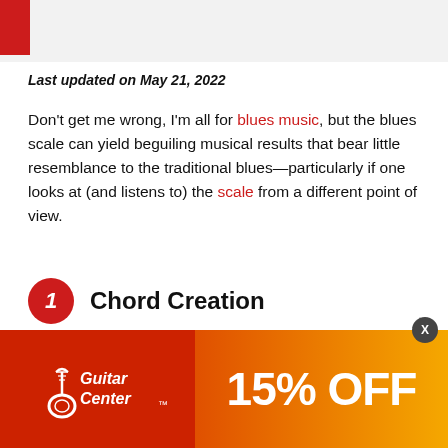Last updated on May 21, 2022
Don't get me wrong, I'm all for blues music, but the blues scale can yield beguiling musical results that bear little resemblance to the traditional blues—particularly if one looks at (and listens to) the scale from a different point of view.
1  Chord Creation
The idea of harmonization is relatively simple. It means is to play two or more notes together at the same time. Technically, one can play as many notes at the same time as one wants, but by definition a chord requires three or more notes although the one exception, the two-note so-called